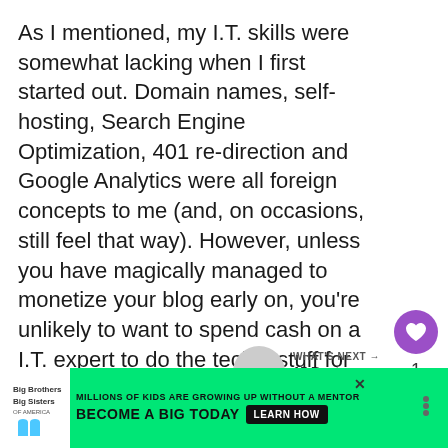As I mentioned, my I.T. skills were somewhat lacking when I first started out. Domain names, self-hosting, Search Engine Optimization, 401 re-direction and Google Analytics were all foreign concepts to me (and, on occasions, still feel that way). However, unless you have magically managed to monetize your blog early on, you're unlikely to want to spend cash on a I.T. expert to do the techie stuff for you.
[Figure (other): Purple heart/like button icon with count of 1 and a share button below it]
[Figure (other): What's Next panel with thumbnail and text '15 Best WordPress...']
[Figure (other): Advertisement banner: Big Brothers Big Sisters - Millions of kids are growing up without a mentor. Become a Big Today. Learn How.]